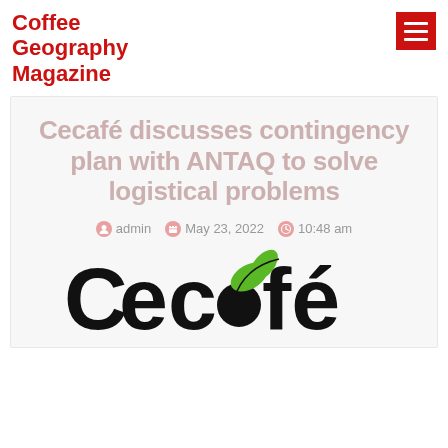Coffee Geography Magazine
Cecafé discusses contingency plan with ANTAQ to solve logistical problems
admin   May 23, 2022   10:48 am
[Figure (logo): Cecafé logo — black and green text logo with leaf accent on the letter o]